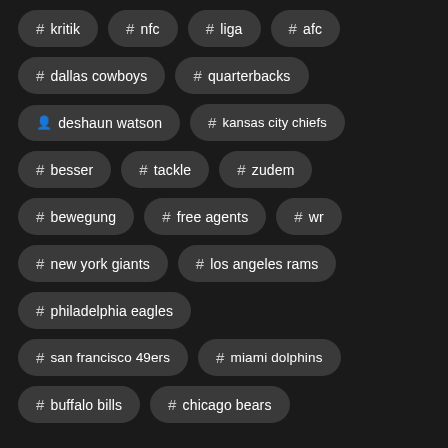# kritik
# nfc
# liga
# afc
# dallas cowboys
# quarterbacks
deshaun watson
# kansas city chiefs
# besser
# tackle
# zudem
# bewegung
# free agents
# wr
# new york giants
# los angeles rams
# philadelphia eagles
# san francisco 49ers
# miami dolphins
# buffalo bills
# chicago bears